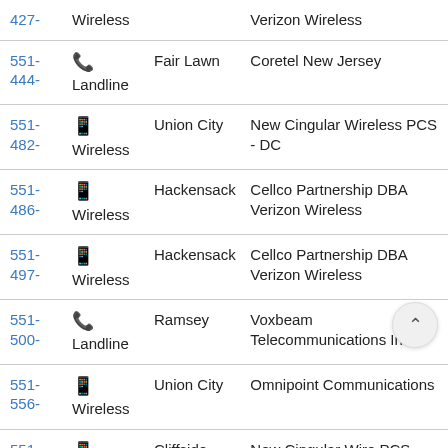| Number | Type | City | Carrier |
| --- | --- | --- | --- |
| 427- | Wireless |  | Verizon Wireless |
| 551-444- | Landline | Fair Lawn | Coretel New Jersey |
| 551-482- | Wireless | Union City | New Cingular Wireless PCS - DC |
| 551-486- | Wireless | Hackensack | Cellco Partnership DBA Verizon Wireless |
| 551-497- | Wireless | Hackensack | Cellco Partnership DBA Verizon Wireless |
| 551-500- | Landline | Ramsey | Voxbeam Telecommunications Inc. |
| 551-556- | Wireless | Union City | Omnipoint Communications |
| 551-574- | Wireless | Cliffside Park | New Cingular Wireless PCS - DC |
| 551- | Wireless | Ramsey | Cellco Partnership DBA |